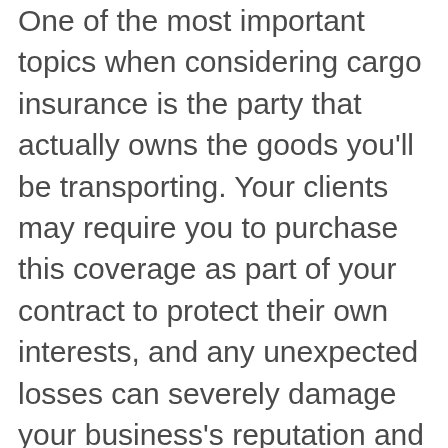One of the most important topics when considering cargo insurance is the party that actually owns the goods you'll be transporting. Your clients may require you to purchase this coverage as part of your contract to protect their own interests, and any unexpected losses can severely damage your business's reputation and relationship.
Before you buy a cargo insurance policy, you should work with your clients to agree on a mutual value for the cargo. If any goods are damaged in transport and your policy doesn't provide you with enough coverage